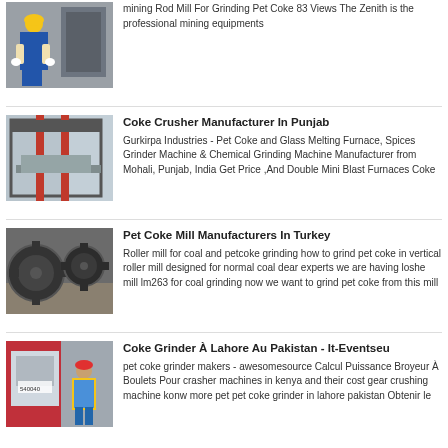[Figure (photo): Industrial worker in blue uniform and yellow hard hat working near machinery]
mining Rod Mill For Grinding Pet Coke 83 Views The Zenith is the professional mining equipments
[Figure (photo): Industrial machine press or hydraulic equipment in a factory]
Coke Crusher Manufacturer In Punjab
Gurkirpa Industries - Pet Coke and Glass Melting Furnace, Spices Grinder Machine & Chemical Grinding Machine Manufacturer from Mohali, Punjab, India Get Price ,And Double Mini Blast Furnaces Coke
[Figure (photo): Heavy industrial gear machinery with large cogs and wheels on a factory floor]
Pet Coke Mill Manufacturers In Turkey
Roller mill for coal and petcoke grinding how to grind pet coke in vertical roller mill designed for normal coal dear experts we are having loshe mill lm263 for coal grinding now we want to grind pet coke from this mill
[Figure (photo): Worker in red hard hat and high-visibility vest operating industrial equipment labeled 540040]
Coke Grinder À Lahore Au Pakistan - It-Eventseu
pet coke grinder makers - awesomesource Calcul Puissance Broyeur À Boulets Pour crasher machines in kenya and their cost gear crushing machine konw more pet pet coke grinder in lahore pakistan Obtenir le